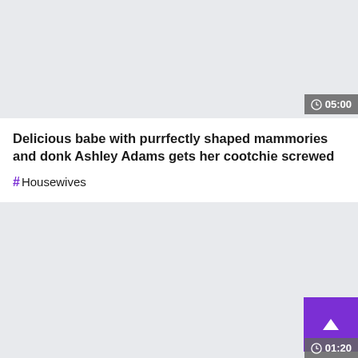[Figure (screenshot): Gray placeholder area for video thumbnail]
05:00
Delicious babe with purrfectly shaped mammories and donk Ashley Adams gets her cootchie screwed
#Housewives
[Figure (screenshot): Gray area below content card with scroll-to-top purple button and partially visible duration badge showing 01:20]